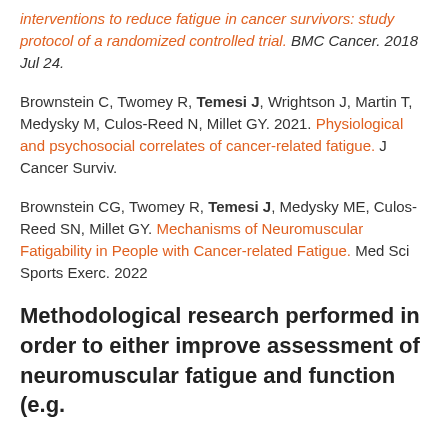interventions to reduce fatigue in cancer survivors: study protocol of a randomized controlled trial. BMC Cancer. 2018 Jul 24.
Brownstein C, Twomey R, Temesi J, Wrightson J, Martin T, Medysky M, Culos-Reed N, Millet GY. 2021. Physiological and psychosocial correlates of cancer-related fatigue. J Cancer Surviv.
Brownstein CG, Twomey R, Temesi J, Medysky ME, Culos-Reed SN, Millet GY. Mechanisms of Neuromuscular Fatigability in People with Cancer-related Fatigue. Med Sci Sports Exerc. 2022
Methodological research performed in order to either improve assessment of neuromuscular fatigue and function (e.g.